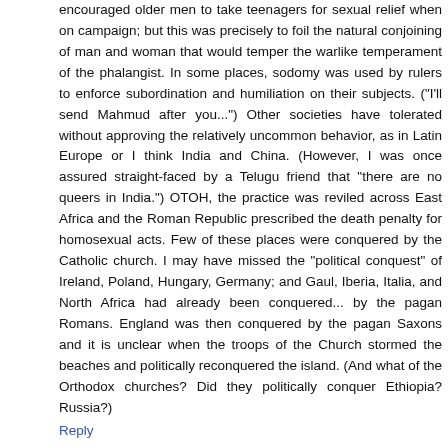encouraged older men to take teenagers for sexual relief when on campaign; but this was precisely to foil the natural conjoining of man and woman that would temper the warlike temperament of the phalangist. In some places, sodomy was used by rulers to enforce subordination and humiliation on their subjects. ("I'll send Mahmud after you...") Other societies have tolerated without approving the relatively uncommon behavior, as in Latin Europe or I think India and China. (However, I was once assured straight-faced by a Telugu friend that "there are no queers in India.") OTOH, the practice was reviled across East Africa and the Roman Republic prescribed the death penalty for homosexual acts. Few of these places were conquered by the Catholic church. I may have missed the "political conquest" of Ireland, Poland, Hungary, Germany; and Gaul, Iberia, Italia, and North Africa had already been conquered... by the pagan Romans. England was then conquered by the pagan Saxons and it is unclear when the troops of the Church stormed the beaches and politically reconquered the island. (And what of the Orthodox churches? Did they politically conquer Ethiopia? Russia?)
Reply